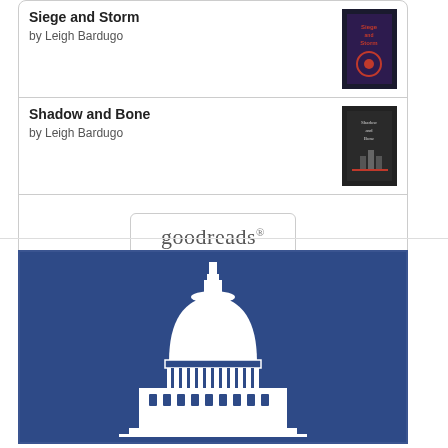[Figure (screenshot): Goodreads widget showing two books: 'Siege and Storm' by Leigh Bardugo and 'Shadow and Bone' by Leigh Bardugo, with cover images and a Goodreads button]
[Figure (logo): US Capitol building white silhouette on dark navy blue background, inside a navy-bordered widget frame]